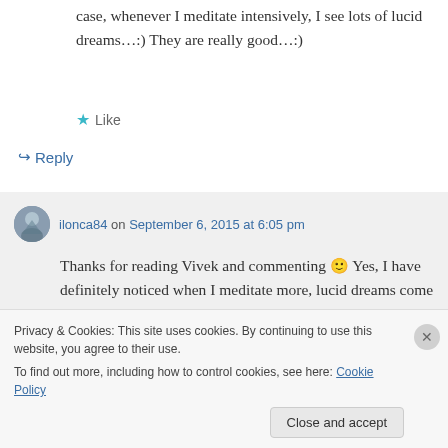case, whenever I meditate intensively, I see lots of lucid dreams…:) They are really good…:)
★ Like
↪ Reply
ilonca84 on September 6, 2015 at 6:05 pm
Thanks for reading Vivek and commenting 🙂 Yes, I have definitely noticed when I meditate more, lucid dreams come hand in
Privacy & Cookies: This site uses cookies. By continuing to use this website, you agree to their use.
To find out more, including how to control cookies, see here: Cookie Policy
Close and accept